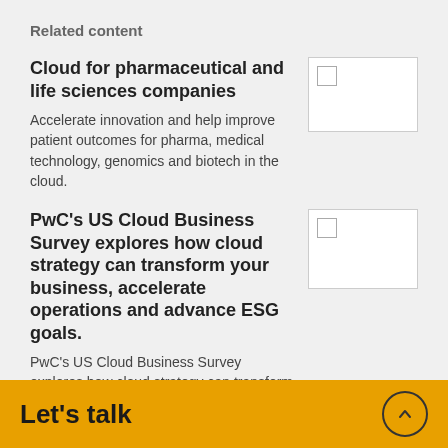Related content
Cloud for pharmaceutical and life sciences companies
Accelerate innovation and help improve patient outcomes for pharma, medical technology, genomics and biotech in the cloud.
PwC’s US Cloud Business Survey explores how cloud strategy can transform your business, accelerate operations and advance ESG goals.
PwC’s US Cloud Business Survey explores how cloud strategy can transform your business, accelerate operations and advance ESG goals.
Let’s talk